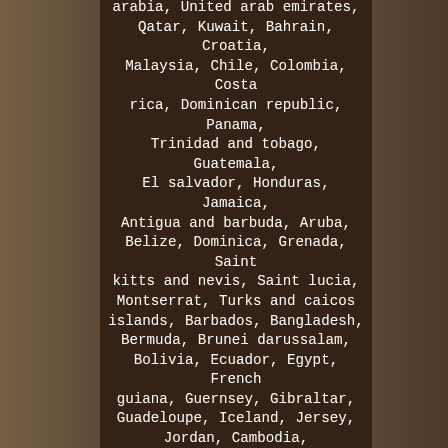arabia, United arab emirates, Qatar, Kuwait, Bahrain, Croatia, Malaysia, Chile, Colombia, Costa rica, Dominican republic, Panama, Trinidad and tobago, Guatemala, El salvador, Honduras, Jamaica, Antigua and barbuda, Aruba, Belize, Dominica, Grenada, Saint kitts and nevis, Saint lucia, Montserrat, Turks and caicos islands, Barbados, Bangladesh, Bermuda, Brunei darussalam, Bolivia, Ecuador, Egypt, French guiana, Guernsey, Gibraltar, Guadeloupe, Iceland, Jersey, Jordan, Cambodia, Liechtenstein, Sri lanka, Luxembourg, Monaco, Macao, Martinique, Maldives, Nicaragua, Oman, Peru, Pakistan, Paraguay, Reunion, Viet nam, Uruguay, Ukraine, Cayman islands.
Compatible Model: C654, C654e, C754, C754e